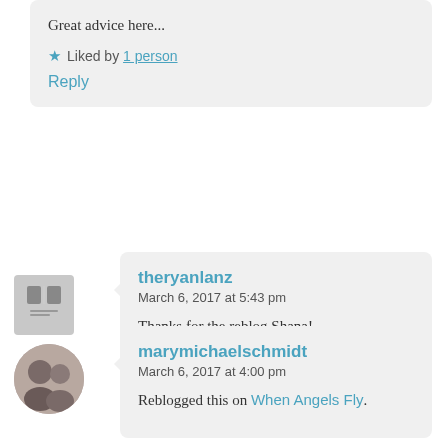Great advice here...
★ Liked by 1 person
Reply
theryanlanz
March 6, 2017 at 5:43 pm

Thanks for the reblog Shana!

★ Like

Reply
marymichaelschmidt
March 6, 2017 at 4:00 pm

Reblogged this on When Angels Fly.